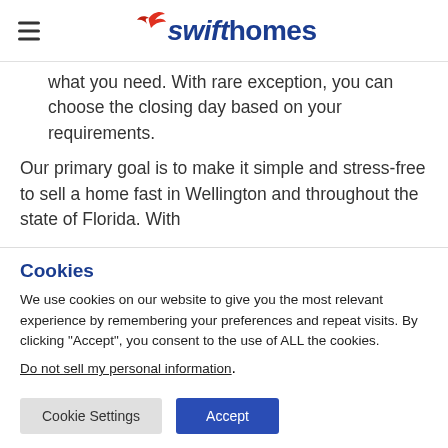swifthomes
what you need. With rare exception, you can choose the closing day based on your requirements.
Our primary goal is to make it simple and stress-free to sell a home fast in Wellington and throughout the state of Florida. With
Cookies
We use cookies on our website to give you the most relevant experience by remembering your preferences and repeat visits. By clicking “Accept”, you consent to the use of ALL the cookies.
Do not sell my personal information.